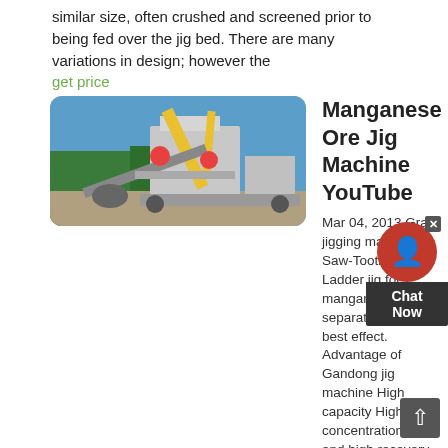similar size, often crushed and screened prior to being fed over the jig bed. There are many variations in design; however the
get price
[Figure (photo): Outdoor mining/crushing equipment setup with yellow cranes, conveyor belts and machinery on a gravel site with trees in background]
Manganese Ore Jig Machine YouTube
Mar 04, 2013 Gra jigging machine-- Saw-Tooth Wave Ladder jig for manganese ore separation with best effect. Advantage of Gandong jig machine High capacity High concentration ratio and high recovery
get price
[Figure (photo): Yellow industrial mining equipment/conveyor structure photographed against a cloudy sky]
Effective Beneficiation Of Low Grade Iron Ore Through